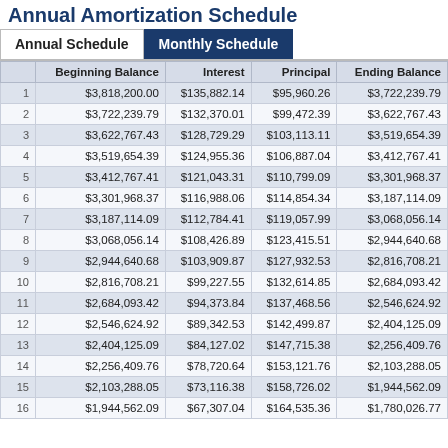Annual Amortization Schedule
|  | Beginning Balance | Interest | Principal | Ending Balance |
| --- | --- | --- | --- | --- |
| 1 | $3,818,200.00 | $135,882.14 | $95,960.26 | $3,722,239.79 |
| 2 | $3,722,239.79 | $132,370.01 | $99,472.39 | $3,622,767.43 |
| 3 | $3,622,767.43 | $128,729.29 | $103,113.11 | $3,519,654.39 |
| 4 | $3,519,654.39 | $124,955.36 | $106,887.04 | $3,412,767.41 |
| 5 | $3,412,767.41 | $121,043.31 | $110,799.09 | $3,301,968.37 |
| 6 | $3,301,968.37 | $116,988.06 | $114,854.34 | $3,187,114.09 |
| 7 | $3,187,114.09 | $112,784.41 | $119,057.99 | $3,068,056.14 |
| 8 | $3,068,056.14 | $108,426.89 | $123,415.51 | $2,944,640.68 |
| 9 | $2,944,640.68 | $103,909.87 | $127,932.53 | $2,816,708.21 |
| 10 | $2,816,708.21 | $99,227.55 | $132,614.85 | $2,684,093.42 |
| 11 | $2,684,093.42 | $94,373.84 | $137,468.56 | $2,546,624.92 |
| 12 | $2,546,624.92 | $89,342.53 | $142,499.87 | $2,404,125.09 |
| 13 | $2,404,125.09 | $84,127.02 | $147,715.38 | $2,256,409.76 |
| 14 | $2,256,409.76 | $78,720.64 | $153,121.76 | $2,103,288.05 |
| 15 | $2,103,288.05 | $73,116.38 | $158,726.02 | $1,944,562.09 |
| 16 | $1,944,562.09 | $67,307.04 | $164,535.36 | $1,780,026.77 |